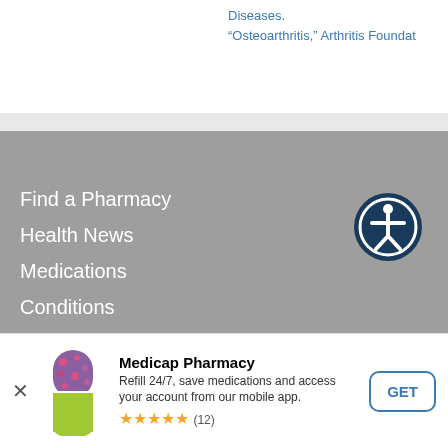Diseases.
“Osteoarthritis,” Arthritis Foundat
Find a Pharmacy
Health News
Medications
Conditions
RxCoupons
Mobile App
Terms and Conditions
[Figure (logo): Accessibility icon - white person figure inside dark navy circle with white ring border]
Medicap Pharmacy
Refill 24/7, save medications and access your account from our mobile app.
★★★★★ (12)